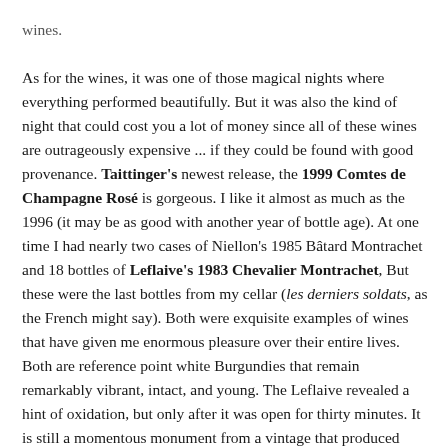wines. As for the wines, it was one of those magical nights where everything performed beautifully. But it was also the kind of night that could cost you a lot of money since all of these wines are outrageously expensive ... if they could be found with good provenance. Taittinger's newest release, the 1999 Comtes de Champagne Rosé is gorgeous. I like it almost as much as the 1996 (it may be as good with another year of bottle age). At one time I had nearly two cases of Niellon's 1985 Bâtard Montrachet and 18 bottles of Leflaive's 1983 Chevalier Montrachet, But these were the last bottles from my cellar (les derniers soldats, as the French might say). Both were exquisite examples of wines that have given me enormous pleasure over their entire lives. Both are reference point white Burgundies that remain remarkably vibrant, intact, and young. The Leflaive revealed a hint of oxidation, but only after it was open for thirty minutes. It is still a momentous monument from a vintage that produced many flabby, quick-to-die white Burgundies. Niellon's 1985 Bâtard Montrachet is seemingly immortal, still tasting like a 5-6 year old wine. It